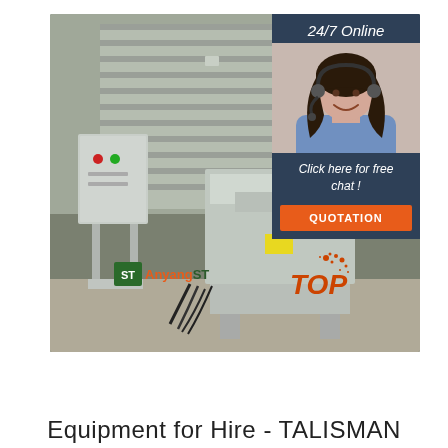[Figure (photo): Industrial hydraulic press machine in a warehouse/factory setting, with a control panel on the left side. Overlaid with a customer service chat box showing '24/7 Online', a woman with headset, 'Click here for free chat!', and a QUOTATION button. Also shows AnyangST logo and TOP logo at bottom of image.]
Equipment for Hire - TALISMAN